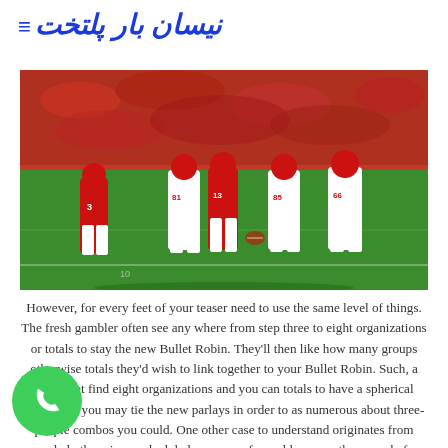نیسان بار پلتخت
[Figure (photo): Wisconsin Badgers football players in red jerseys and white pants standing on a football field, with a packed stadium of fans in red in the background. Jersey numbers visible include 3, 81, 13, 85, 66.]
However, for every feet of your teaser need to use the same level of things. The fresh gambler often see any where from step three to eight organizations or totals to stay the new Bullet Robin. They'll then like how many groups otherwise totals they'd wish to link together to your Bullet Robin. Such, a bettor get find eight organizations and you can totals to have a spherical Robin and you may tie the new parlays in order to as numerous about three-people combos you could. One other case to understand originates from canceled otherwise rescheduled es, more of a problem now than ever before thanks to the pandemic
[Figure (illustration): Green circular phone call button with white phone handset icon]